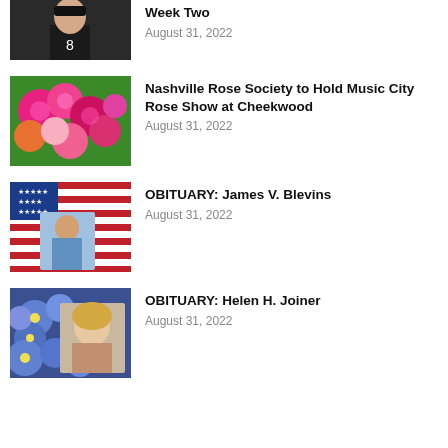[Figure (photo): Young person in football uniform, partial view]
Week Two
August 31, 2022
[Figure (photo): Pink and red roses close-up]
Nashville Rose Society to Hold Music City Rose Show at Cheekwood
August 31, 2022
[Figure (photo): American flag with person in background]
OBITUARY: James V. Blevins
August 31, 2022
[Figure (photo): Blue flowers with portrait of woman]
OBITUARY: Helen H. Joiner
August 31, 2022